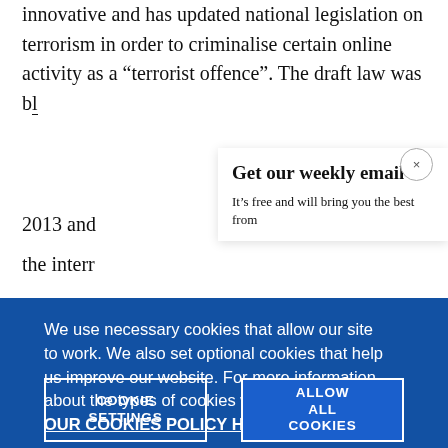innovative and has updated national legislation on terrorism in order to criminalise certain online activity as a "terrorist offence". The draft law was b[...] 2013 and the interr[...]
Get our weekly email
It's free and will bring you the best from
We use necessary cookies that allow our site to work. We also set optional cookies that help us improve our website. For more information about the types of cookies we use. READ OUR COOKIES POLICY HERE
data.
COOKIE SETTINGS
ALLOW ALL COOKIES